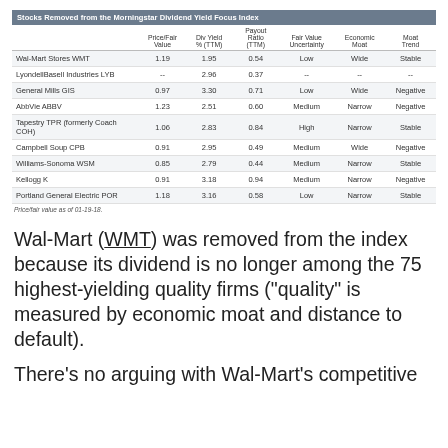|  | Price/Fair Value | Div Yield % (TTM) | Payout Ratio (TTM) | Fair Value Uncertainty | Economic Moat | Moat Trend |
| --- | --- | --- | --- | --- | --- | --- |
| Wal-Mart Stores WMT | 1.19 | 1.95 | 0.54 | Low | Wide | Stable |
| LyondellBasell Industries LYB | -- | 2.96 | 0.37 | -- | -- | -- |
| General Mills GIS | 0.97 | 3.30 | 0.71 | Low | Wide | Negative |
| AbbVie ABBV | 1.23 | 2.51 | 0.60 | Medium | Narrow | Negative |
| Tapestry TPR (formerly Coach COH) | 1.06 | 2.83 | 0.84 | High | Narrow | Stable |
| Campbell Soup CPB | 0.91 | 2.95 | 0.49 | Medium | Wide | Negative |
| Williams-Sonoma WSM | 0.85 | 2.79 | 0.44 | Medium | Narrow | Stable |
| Kellogg K | 0.91 | 3.18 | 0.94 | Medium | Narrow | Negative |
| Portland General Electric POR | 1.18 | 3.16 | 0.58 | Low | Narrow | Stable |
Price/fair value as of 01-19-18.
Wal-Mart (WMT) was removed from the index because its dividend is no longer among the 75 highest-yielding quality firms ("quality" is measured by economic moat and distance to default).
There's no arguing with Wal-Mart's competitive